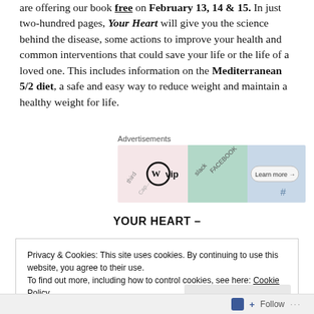are offering our book free on February 13, 14 & 15. In just two-hundred pages, Your Heart will give you the science behind the disease, some actions to improve your health and common interventions that could save your life or the life of a loved one. This includes information on the Mediterranean 5/2 diet, a safe and easy way to reduce weight and maintain a healthy weight for life.
[Figure (other): WordPress VIP advertisement banner showing WP VIP logo alongside social media platform logos (Slack, Facebook) with a 'Learn more' button]
YOUR HEART –
Privacy & Cookies: This site uses cookies. By continuing to use this website, you agree to their use.
To find out more, including how to control cookies, see here: Cookie Policy
Close and accept
Follow